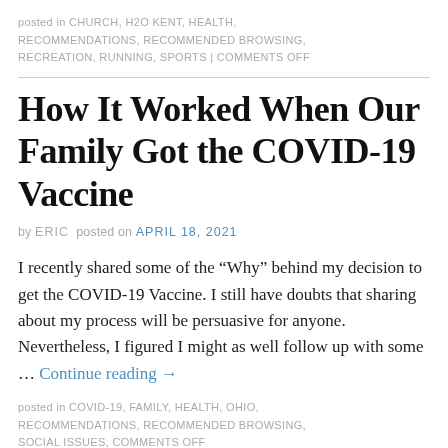posted in CHURCH, H2O KENT, HEALTH, RECOMMENDATIONS, RECOMMENDED BROWSING, RECREATION, RUNNING, SPORTS | COMMENTS OFF
How It Worked When Our Family Got the COVID-19 Vaccine
by ERIC posted on APRIL 18, 2021
I recently shared some of the “Why” behind my decision to get the COVID-19 Vaccine. I still have doubts that sharing about my process will be persuasive for anyone. Nevertheless, I figured I might as well follow up with some … Continue reading →
posted in COVID-19, FAMILY, HEALTH, OHIO, RECOMMENDATIONS, RECOMMENDED BROWSING, SOCIAL ISSUES, COMMENTS OFF